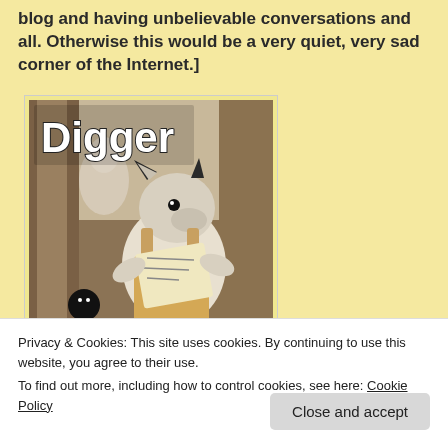[But seriously guys, thanks for reading my blog and having unbelievable conversations and all. Otherwise this would be a very quiet, very sad corner of the Internet.]
[Figure (illustration): Book cover illustration titled 'Digger' showing a wombat-like creature in overalls reading a map, with a small dark figure in the foreground and trees in the background. Bold white text reads 'Digger' at top left.]
Privacy & Cookies: This site uses cookies. By continuing to use this website, you agree to their use.
To find out more, including how to control cookies, see here: Cookie Policy
Close and accept